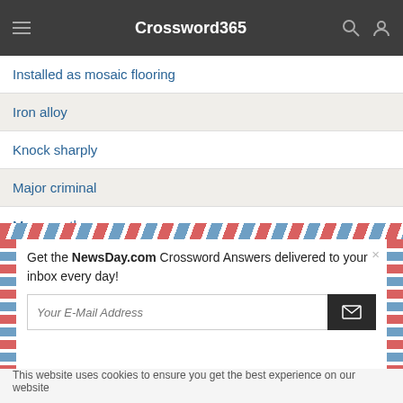Crossword365
Installed as mosaic flooring
Iron alloy
Knock sharply
Major criminal
Marry on the run
[Figure (screenshot): Email subscription popup with airmail-style border, text 'Get the NewsDay.com Crossword Answers delivered to your inbox every day!' and an email input field with send button]
This website uses cookies to ensure you get the best experience on our website